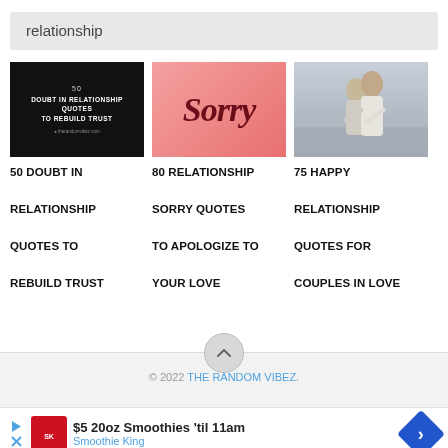relationship
[Figure (illustration): Black background card with text: 50 DOUBT IN RELATIONSHIP QUOTES TO REBUILD TRUST]
[Figure (illustration): Pink background card with cursive Sorry text in dark red]
[Figure (photo): Photo of a couple embracing outdoors, man in white shirt hugging woman from behind]
50 DOUBT IN RELATIONSHIP QUOTES TO REBUILD TRUST
80 RELATIONSHIP SORRY QUOTES TO APOLOGIZE TO YOUR LOVE
75 HAPPY RELATIONSHIP QUOTES FOR COUPLES IN LOVE
© 2022 THE RANDOM VIBEZ.
$5 20oz Smoothies 'til 11am Smoothie King